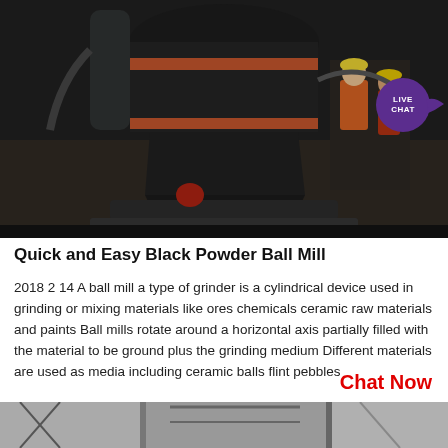[Figure (photo): Industrial ball mill machine with large dark cylindrical grinding vessel with orange bands, pipes, and workers in safety vests visible in the background]
Quick and Easy Black Powder Ball Mill
2018 2 14 A ball mill a type of grinder is a cylindrical device used in grinding or mixing materials like ores chemicals ceramic raw materials and paints Ball mills rotate around a horizontal axis partially filled with the material to be ground plus the grinding medium Different materials are used as media including ceramic balls flint pebbles
Chat Now
[Figure (photo): Partial view of another industrial machine or ball mill equipment at the bottom of the page]